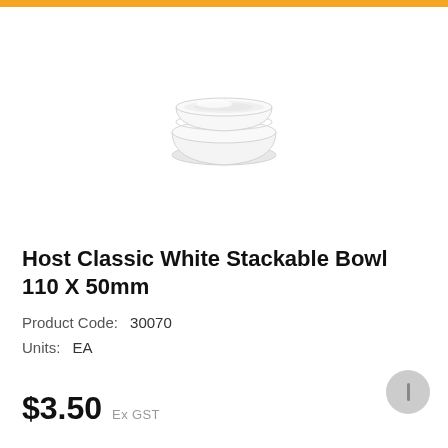[Figure (photo): Two stacked white ceramic bowls, Host Classic White Stackable Bowl 110 X 50mm, viewed from a slight angle on white background]
Host Classic White Stackable Bowl 110 X 50mm
Product Code:  30070
Units:  EA
$3.50  Ex GST